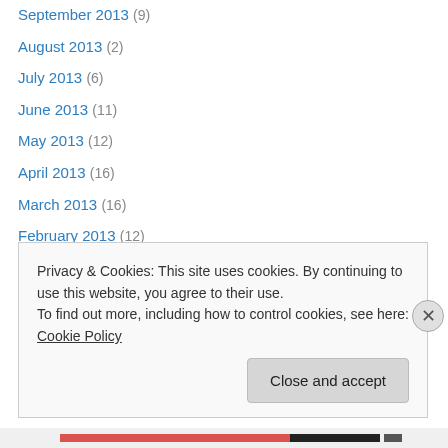September 2013 (9)
August 2013 (2)
July 2013 (6)
June 2013 (11)
May 2013 (12)
April 2013 (16)
March 2013 (16)
February 2013 (12)
January 2013 (15)
December 2012 (11)
November 2012 (15)
October 2012 (19)
September 2012 (13)
Privacy & Cookies: This site uses cookies. By continuing to use this website, you agree to their use. To find out more, including how to control cookies, see here: Cookie Policy
Close and accept